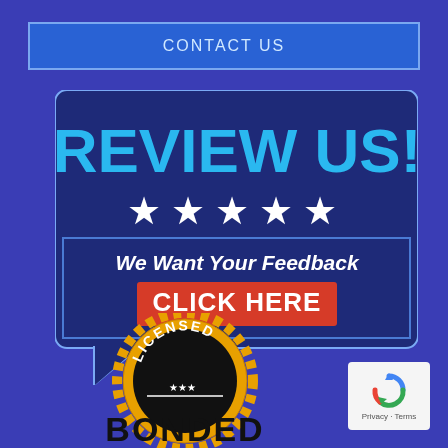CONTACT US
[Figure (infographic): Speech bubble graphic with 'REVIEW US!' in large blue text, five white stars, 'We Want Your Feedback' in white italic text, and a red 'CLICK HERE' button on dark navy background]
[Figure (infographic): Gold gear/badge seal with 'LICENSED' in black arc text at top, three stars, and 'BONDED' in large black bold text]
[Figure (logo): Google reCAPTCHA logo with privacy and terms text]